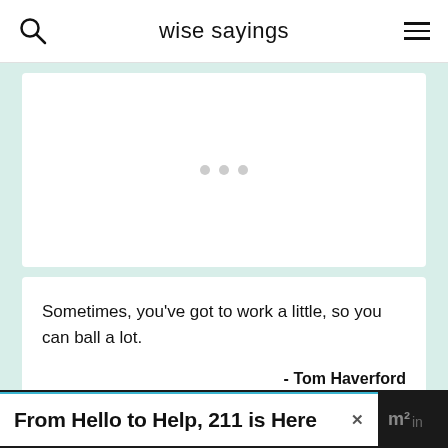wise sayings
[Figure (other): Advertisement placeholder with three small grey dots centered in a white card]
Sometimes, you've got to work a little, so you can ball a lot.
- Tom Haverford
From Hello to Help, 211 is Here